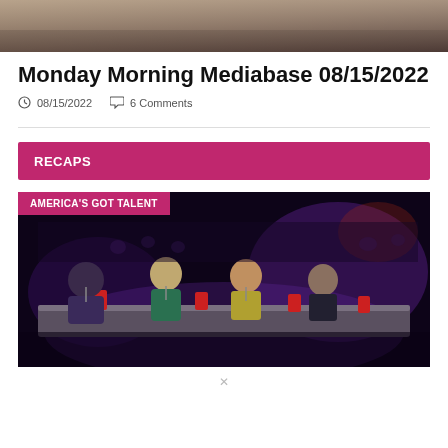[Figure (photo): Partial image at top of page, appears to be a blurred/cropped photo]
Monday Morning Mediabase 08/15/2022
08/15/2022   6 Comments
RECAPS
[Figure (photo): America's Got Talent judges panel photo: four judges sitting at a table with red cups, dark stage background with purple lighting]
AMERICA'S GOT TALENT